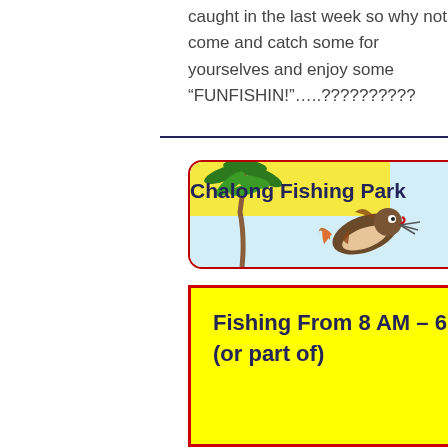caught in the last week so why not come and catch some for yourselves and enjoy some “FUNFISHIN!”…..??????????
[Figure (logo): Chalong Fishing Park logo banner with palm tree, cartoon fish, dock, and reeds on a light blue background]
Fishing From 8 AM – 6 PM (or part of)